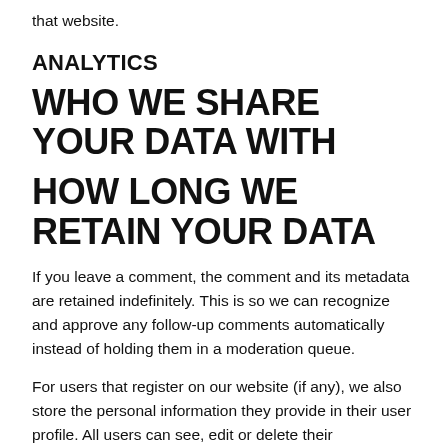that website.
ANALYTICS
WHO WE SHARE YOUR DATA WITH
HOW LONG WE RETAIN YOUR DATA
If you leave a comment, the comment and its metadata are retained indefinitely. This is so we can recognize and approve any follow-up comments automatically instead of holding them in a moderation queue.
For users that register on our website (if any), we also store the personal information they provide in their user profile. All users can see, edit or delete their